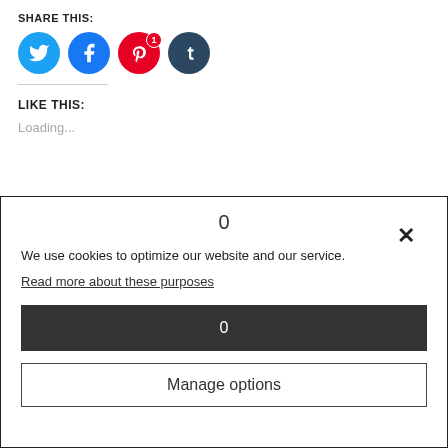SHARE THIS:
[Figure (illustration): Four social media share buttons: Twitter (blue bird icon), Facebook (blue f icon), Pinterest (red P icon with badge showing 1), Tumblr (dark blue t icon)]
LIKE THIS:
Loading...
0
We use cookies to optimize our website and our service.
Read more about these purposes
0
Manage options